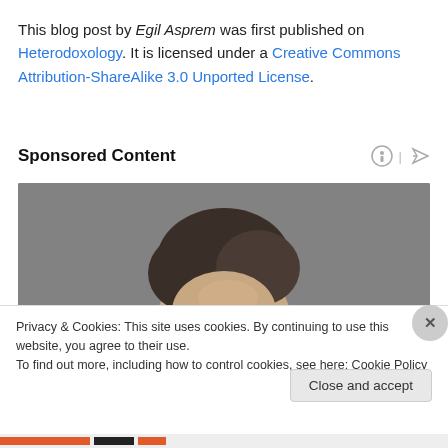This blog post by Egil Asprem was first published on Heterodoxology. It is licensed under a Creative Commons Attribution-ShareAlike 3.0 Unported License.
Sponsored Content
[Figure (photo): Partial photo of a person's head with dark hair against a grey background]
Privacy & Cookies: This site uses cookies. By continuing to use this website, you agree to their use. To find out more, including how to control cookies, see here: Cookie Policy